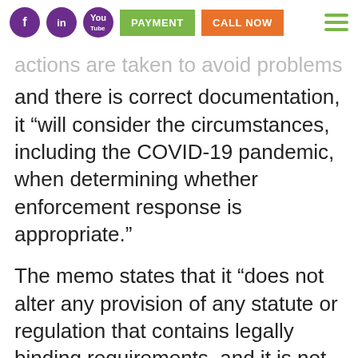f in [yt] | PAYMENT | CALL NOW | [menu]
actions are taken to avoid problems and there is correct documentation, it “will consider the circumstances, including the COVID-19 pandemic, when determining whether enforcement response is appropriate.”
The memo states that it “does not alter any provision of any statute or regulation that contains legally binding requirements, and it is not itself a regulation.”